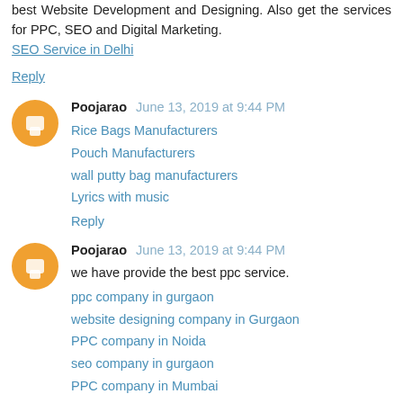best Website Development and Designing. Also get the services for PPC, SEO and Digital Marketing.
SEO Service in Delhi
Reply
Poojarao June 13, 2019 at 9:44 PM
Rice Bags Manufacturers
Pouch Manufacturers
wall putty bag manufacturers
Lyrics with music
Reply
Poojarao June 13, 2019 at 9:44 PM
we have provide the best ppc service.
ppc company in gurgaon
website designing company in Gurgaon
PPC company in Noida
seo company in gurgaon
PPC company in Mumbai